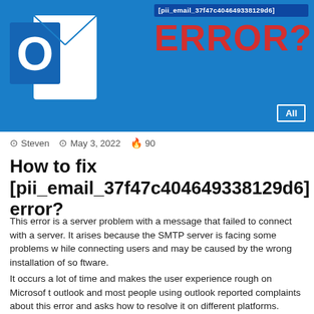[Figure (screenshot): Hero banner with Microsoft Outlook logo icon on blue background, email error code text and large red ERROR? text label, with an All badge in bottom right corner]
Steven   May 3, 2022   90
How to fix [pii_email_37f47c404649338129d6] error?
This error is a server problem with a message that failed to connect with a server. It arises because the SMTP server is facing some problems while connecting users and may be caused by the wrong installation of software.
It occurs a lot of time and makes the user experience rough on Microsoft outlook and most people using outlook reported complaints about this error and asks how to resolve it on different platforms.
In this blog, you will get to know all about fixing methods of this error and how to resolve it in very effective ways. So read it whole to know more about this error as well as solutions.
What is [pii_email_37f47c404649338129d6] error? Contents  show